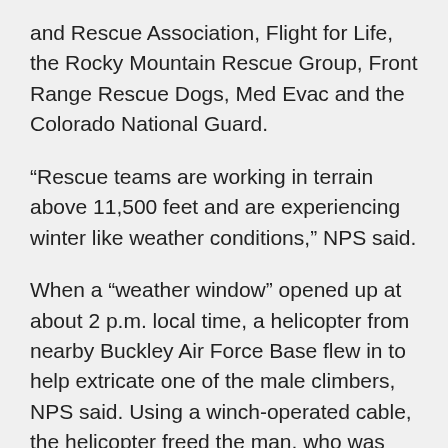and Rescue Association, Flight for Life, the Rocky Mountain Rescue Group, Front Range Rescue Dogs, Med Evac and the Colorado National Guard.
“Rescue teams are working in terrain above 11,500 feet and are experiencing winter like weather conditions,” NPS said.
When a “weather window” opened up at about 2 p.m. local time, a helicopter from nearby Buckley Air Force Base flew in to help extricate one of the male climbers, NPS said. Using a winch-operated cable, the helicopter freed the man, who was then flown to Medical Center of the Rockies, NPS said.
Searchers located the body of the second male climber in the avalanche debris at about 5:15 p.m. on Sunday, NPS said.
“The recovery operation will be delayed due to winter